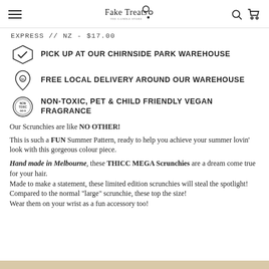Fake Treats
EXPRESS // NZ - $17.00
PICK UP AT OUR CHIRNSIDE PARK WAREHOUSE
FREE LOCAL DELIVERY AROUND OUR WAREHOUSE
NON-TOXIC, PET & CHILD FRIENDLY VEGAN FRAGRANCE
Our Scrunchies are like NO OTHER!
This is such a FUN Summer Pattern, ready to help you achieve your summer lovin' look with this gorgeous colour piece.
Hand made in Melbourne, these THICC MEGA Scrunchies are a dream come true for your hair.
Made to make a statement, these limited edition scrunchies will steal the spotlight!
Compared to the normal "large" scrunchie, these top the size!
Wear them on your wrist as a fun accessory too!